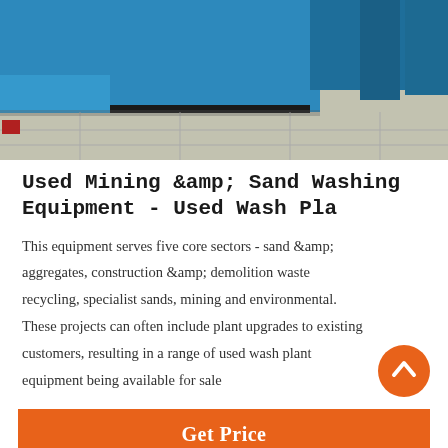[Figure (photo): Photo of blue industrial wash plant equipment/machinery with a concrete floor visible in the foreground]
Used Mining &amp; Sand Washing Equipment - Used Wash Pla
This equipment serves five core sectors - sand &amp; aggregates, construction &amp; demolition waste recycling, specialist sands, mining and environmental. These projects can often include plant upgrades to existing customers, resulting in a range of used wash plant equipment being available for sale
[Figure (other): Orange circular scroll-to-top button with upward chevron arrow]
Get Price